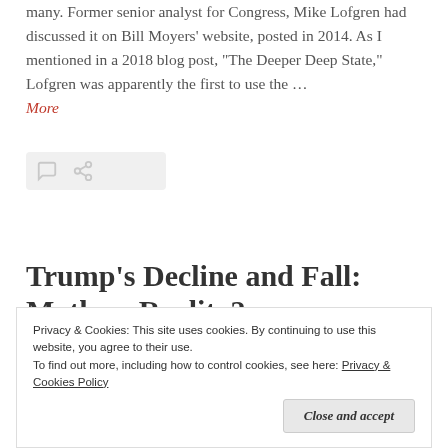many. Former senior analyst for Congress, Mike Lofgren had discussed it on Bill Moyers' website, posted in 2014. As I mentioned in a 2018 blog post, "The Deeper Deep State," Lofgren was apparently the first to use the …
More
[Figure (other): Icon bar with comment and share icons on light gray background]
Trump's Decline and Fall: Myth or Reality?
Privacy & Cookies: This site uses cookies. By continuing to use this website, you agree to their use.
To find out more, including how to control cookies, see here: Privacy & Cookies Policy
Close and accept